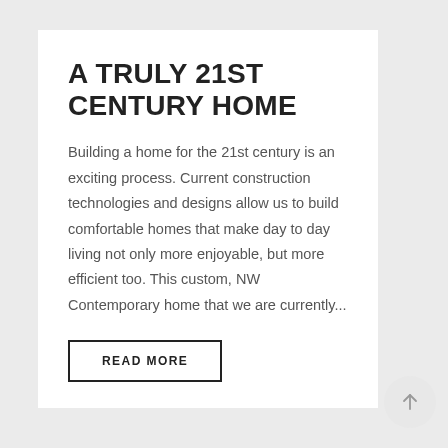A TRULY 21ST CENTURY HOME
Building a home for the 21st century is an exciting process. Current construction technologies and designs allow us to build comfortable homes that make day to day living not only more enjoyable, but more efficient too. This custom, NW Contemporary home that we are currently...
READ MORE